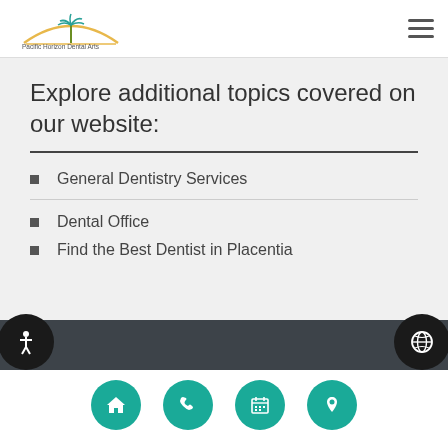[Figure (logo): Pacific Horizon Dental Arts logo with palm tree and arch]
Explore additional topics covered on our website:
General Dentistry Services
Dental Office
Find the Best Dentist in Placentia
[Figure (infographic): Dark navigation bar with accessibility icon on left and globe icon on right, plus four teal circular nav buttons: home, phone, calendar, location pin]